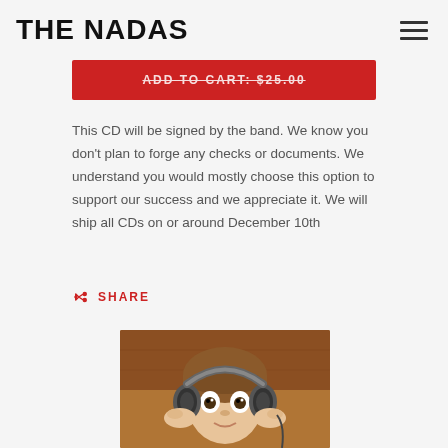THE NADAS
ADD TO CART: $25.00
This CD will be signed by the band. We know you don't plan to forge any checks or documents. We understand you would mostly choose this option to support our success and we appreciate it. We will ship all CDs on or around December 10th
SHARE
[Figure (photo): A young child with wide eyes wearing large over-ear headphones, holding them to their head, with a surprised or excited expression.]